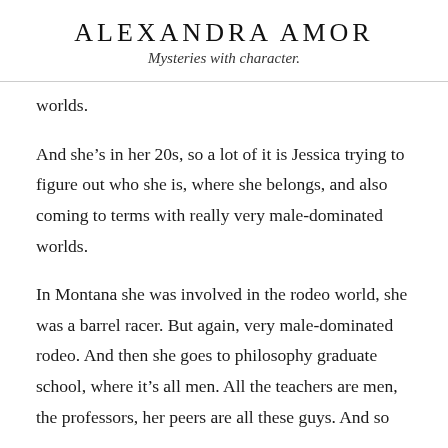ALEXANDRA AMOR
Mysteries with character.
worlds.
And she’s in her 20s, so a lot of it is Jessica trying to figure out who she is, where she belongs, and also coming to terms with really very male-dominated worlds.
In Montana she was involved in the rodeo world, she was a barrel racer. But again, very male-dominated rodeo. And then she goes to philosophy graduate school, where it’s all men. All the teachers are men, the professors, her peers are all these guys. And so